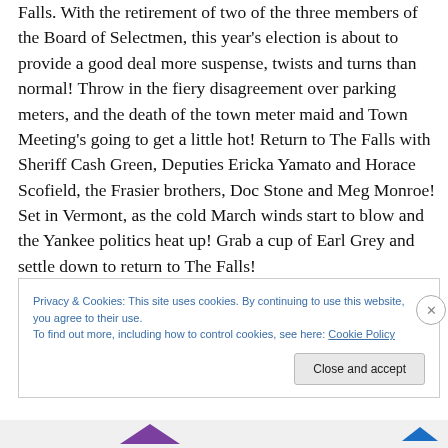Falls. With the retirement of two of the three members of the Board of Selectmen, this year's election is about to provide a good deal more suspense, twists and turns than normal! Throw in the fiery disagreement over parking meters, and the death of the town meter maid and Town Meeting's going to get a little hot! Return to The Falls with Sheriff Cash Green, Deputies Ericka Yamato and Horace Scofield, the Frasier brothers, Doc Stone and Meg Monroe! Set in Vermont, as the cold March winds start to blow and the Yankee politics heat up! Grab a cup of Earl Grey and settle down to return to The Falls!
Privacy & Cookies: This site uses cookies. By continuing to use this website, you agree to their use.
To find out more, including how to control cookies, see here: Cookie Policy
Close and accept